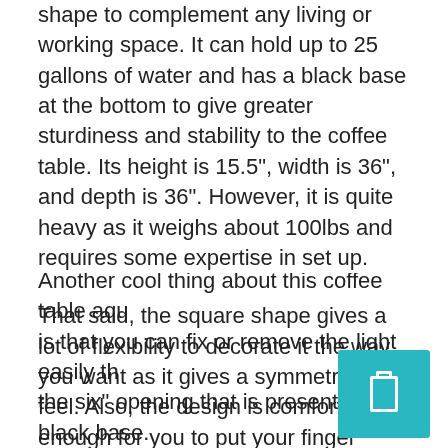shape to complement any living or working space. It can hold up to 25 gallons of water and has a black base at the bottom to give greater sturdiness and stability to the coffee table. Its height is 15.5", width is 36", and depth is 36". However, it is quite heavy as it weighs about 100lbs and requires some expertise in set up.
That said, the square shape gives a lot of flexibility to decorate it the way you want as it gives a symmetrical feel. Also, the design is comfortable enough for you to put your finger inside the tank to feed the fish if that's something you'd like to do.
Another cool thing about this coffee table aquarium is that you can fix or remove the light easily through the six" opening that is present at the black base.